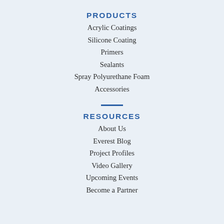PRODUCTS
Acrylic Coatings
Silicone Coating
Primers
Sealants
Spray Polyurethane Foam
Accessories
RESOURCES
About Us
Everest Blog
Project Profiles
Video Gallery
Upcoming Events
Become a Partner